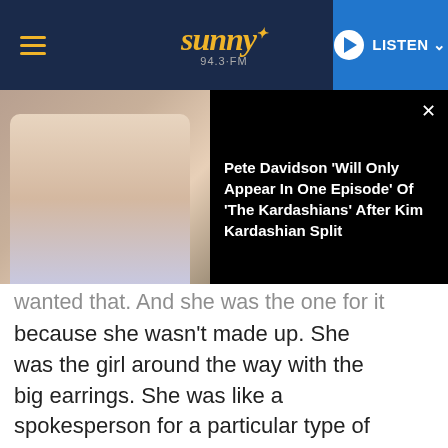Sunny 94.3-FM | LISTEN
[Figure (screenshot): Video thumbnail of a woman speaking, overlaid with dark panel showing article headline]
Pete Davidson 'Will Only Appear In One Episode' Of 'The Kardashians' After Kim Kardashian Split
wanted that. And she was the one for it because she wasn't made up. She was the girl around the way with the big earrings. She was like a spokesperson for a particular type of girl coming out of New York and coming out of the streets." -Nas